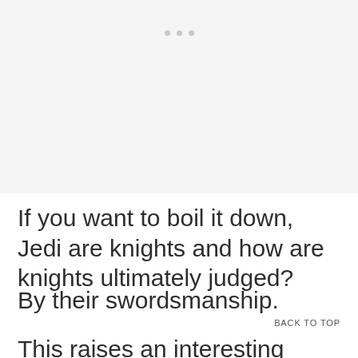[Figure (other): Light gray placeholder image area with three small gray dots near the top center]
If you want to boil it down, Jedi are knights and how are knights ultimately judged?
By their swordsmanship.
BACK TO TOP
This raises an interesting point.